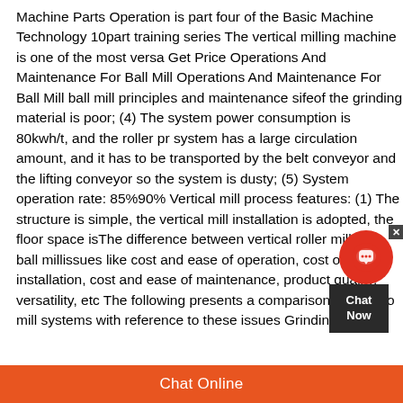Machine Parts Operation is part four of the Basic Machine Technology 10part training series The vertical milling machine is one of the most versa Get Price Operations And Maintenance For Ball Mill Operations And Maintenance For Ball Mill ball mill principles and maintenance sifeof the grinding material is poor; (4) The system power consumption is 80kwh/t, and the roller pr system has a large circulation amount, and it has to be transported by the belt conveyor and the lifting conveyor so the system is dusty; (5) System operation rate: 85%90% Vertical mill process features: (1) The structure is simple, the vertical mill installation is adopted, the floor space isThe difference between vertical roller mill and ball millissues like cost and ease of operation, cost of installation, cost and ease of maintenance, product quality, versatility, etc The following presents a comparison of the two mill systems with reference to these issues Grinding
[Figure (other): Live chat widget with headset icon and 'Chat Now' button]
Chat Online